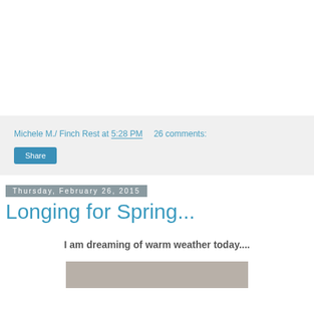Michele M./ Finch Rest at 5:28 PM    26 comments:
Share
Thursday, February 26, 2015
Longing for Spring...
I am dreaming of warm weather today....
[Figure (photo): Partial view of a photo at the bottom of the page]